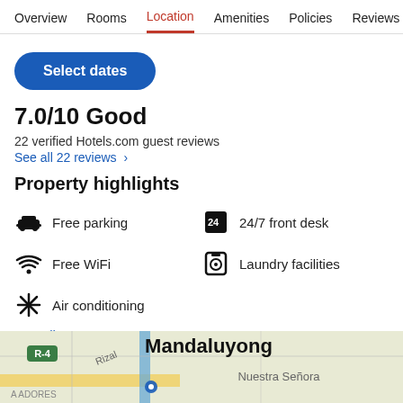Overview  Rooms  Location  Amenities  Policies  Reviews
Select dates
7.0/10 Good
22 verified Hotels.com guest reviews
See all 22 reviews >
Property highlights
Free parking
24/7 front desk
Free WiFi
Laundry facilities
Air conditioning
See all >
[Figure (map): Map showing Mandaluyong area with Nuestra Señora label, road markers, R-4 badge, and Rizal road label]